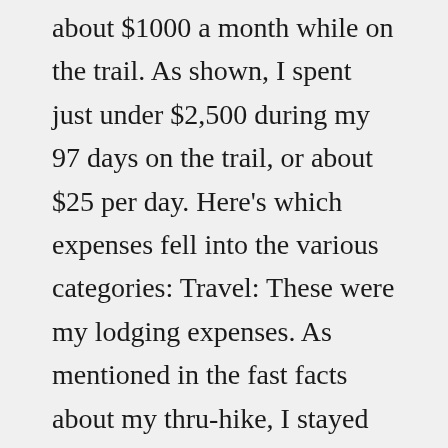about $1000 a month while on the trail. As shown, I spent just under $2,500 during my 97 days on the trail, or about $25 per day. Here's which expenses fell into the various categories: Travel: These were my lodging expenses. As mentioned in the fast facts about my thru-hike, I stayed in 13 hostels and seven hotels during my trip and took all five of my zeros at said establishments.Aug 28, 2020 · It is difficult to give you a correct cost yet the normal cost of hiking the